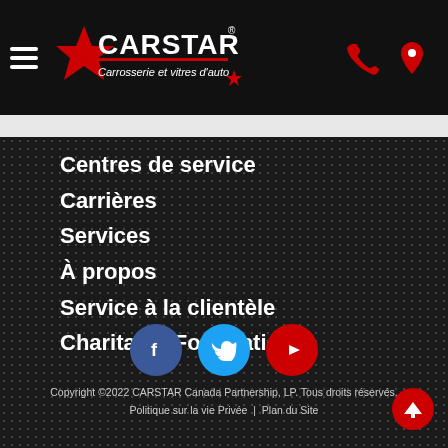[Figure (logo): CARSTAR logo with red star and text 'Carrosserie et vitres d'auto' on dark background, with hamburger menu, phone icon and location pin icon]
Centres de service
Carrières
Services
À propos
Service à la clientèle
Charitable Foundation
[Figure (infographic): Three social media icons: Facebook (blue circle with f), Twitter (light blue circle with bird), YouTube (red circle with play button)]
Copyright ©2022 CARSTAR Canada Partnership, LP. Tous droits réservés. Politique sur la vie Privée  |  Plan du Site